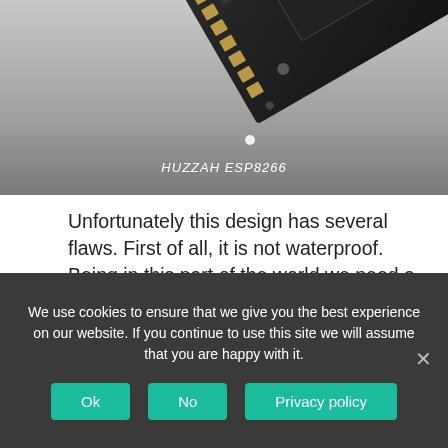[Figure (photo): Photo of HUZZAH ESP8266 microcontroller board, shown at an angle against a gray gradient background]
HUZZAH ESP8266
Unfortunately this design has several flaws. First of all, it is not waterproof. Being in this part of the world we need a waterproof design. Neither can it handle big antennas as it will be wobbly. And last, although 2016 is not that old, none of the servo motors used in his design are available. There are of course updated models of the servos available, but being RC type servos these are very expensive. There is also no design for how to put this all together, which is left up to the builder. The accuracy of
We use cookies to ensure that we give you the best experience on our website. If you continue to use this site we will assume that you are happy with it.